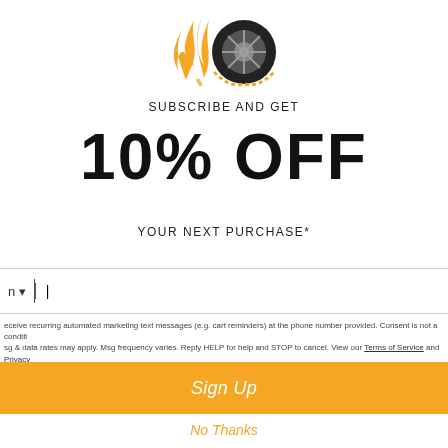[Figure (logo): Flaming tire logo with orange flames and black tire/wheel graphic]
SUBSCRIBE AND GET
10% OFF
YOUR NEXT PURCHASE*
you receive recurring automated marketing text messages (e.g. cart reminders) at the phone number provided. Consent is not a condition of purchase. Msg & data rates may apply. Msg frequency varies. Reply HELP for help and STOP to cancel. View our Terms of Service and Privacy Policy.
Sign Up
No Thanks